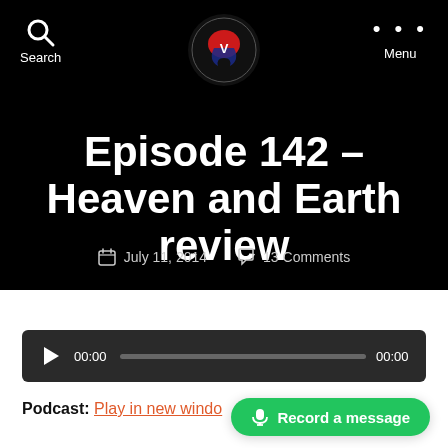Search | [Logo] | Menu
Episode 142 – Heaven and Earth review
July 11, 2014   13 Comments
[Figure (screenshot): Audio player with play button, time 00:00, progress bar, and end time 00:00]
Podcast: Play in new window
[Figure (other): Record a message green button with microphone icon]